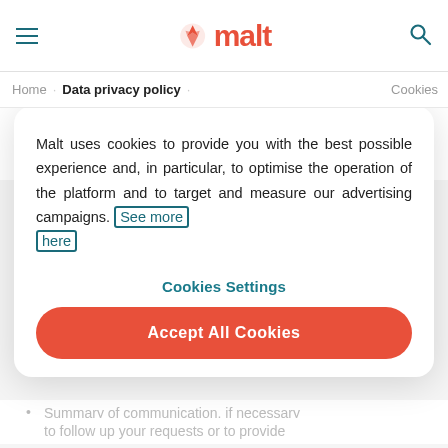malt
Home · Data privacy policy · Cookies
Gender
Email address
Occupational category
Malt uses cookies to provide you with the best possible experience and, in particular, to optimise the operation of the platform and to target and measure our advertising campaigns. See more here
Cookies Settings
Accept All Cookies
Summary of communication, if necessary to follow up your requests or to provide